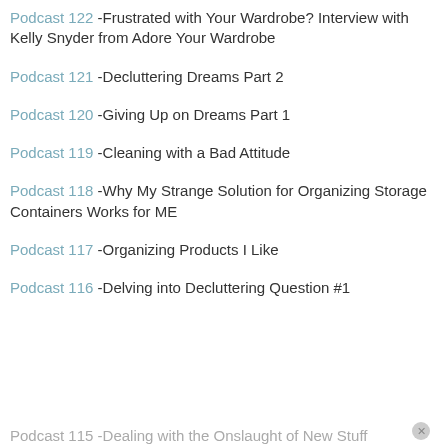Podcast 122 -Frustrated with Your Wardrobe? Interview with Kelly Snyder from Adore Your Wardrobe
Podcast 121 -Decluttering Dreams Part 2
Podcast 120 -Giving Up on Dreams Part 1
Podcast 119 -Cleaning with a Bad Attitude
Podcast 118 -Why My Strange Solution for Organizing Storage Containers Works for ME
Podcast 117 -Organizing Products I Like
Podcast 116 -Delving into Decluttering Question #1
Podcast 115 -Dealing with the Onslaught of New Stuff